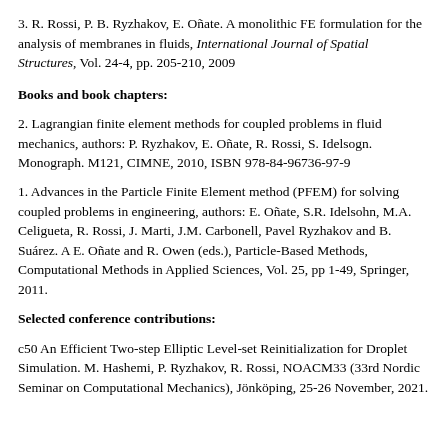3. R. Rossi, P. B. Ryzhakov, E. Oñate. A monolithic FE formulation for the analysis of membranes in fluids, International Journal of Spatial Structures, Vol. 24-4, pp. 205-210, 2009
Books and book chapters:
2. Lagrangian finite element methods for coupled problems in fluid mechanics, authors: P. Ryzhakov, E. Oñate, R. Rossi, S. Idelsogn. Monograph. M121, CIMNE, 2010, ISBN 978-84-96736-97-9
1. Advances in the Particle Finite Element method (PFEM) for solving coupled problems in engineering, authors: E. Oñate, S.R. Idelsohn, M.A. Celigueta, R. Rossi, J. Marti, J.M. Carbonell, Pavel Ryzhakov and B. Suárez. A E. Oñate and R. Owen (eds.), Particle-Based Methods, Computational Methods in Applied Sciences, Vol. 25, pp 1-49, Springer, 2011.
Selected conference contributions:
c50 An Efficient Two-step Elliptic Level-set Reinitialization for Droplet Simulation. M. Hashemi, P. Ryzhakov, R. Rossi, NOACM33 (33rd Nordic Seminar on Computational Mechanics), Jönköping, 25-26 November, 2021.